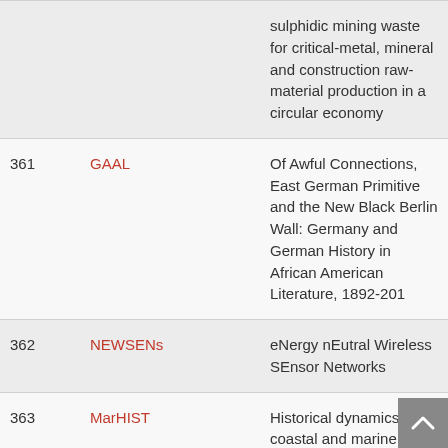| # | Acronym | Title |
| --- | --- | --- |
|  |  | sulphidic mining waste for critical-metal, mineral and construction raw-material production in a circular economy |
| 361 | GAAL | Of Awful Connections, East German Primitive and the New Black Berlin Wall: Germany and German History in African American Literature, 1892-201 |
| 362 | NEWSENs | eNergy nEutral Wireless SEnsor Networks |
| 363 | MarHIST | Historical dynamics of coastal and marine ecosystem services. |
| 364 | SEXinMALARIA | Sex in malaria parasit |